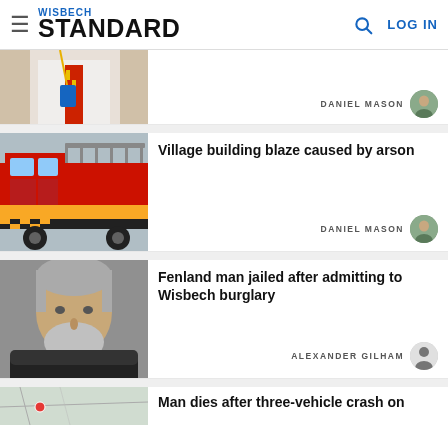WISBECH STANDARD | LOG IN
[Figure (photo): Partial image of a person wearing a white shirt and lanyard with a red-patterned tie]
DANIEL MASON
[Figure (photo): Red fire engine truck with yellow chevrons parked outdoors]
Village building blaze caused by arson
DANIEL MASON
[Figure (photo): Mugshot of a middle-aged man with grey hair and beard against a plain background]
Fenland man jailed after admitting to Wisbech burglary
ALEXANDER GILHAM
[Figure (photo): Partial aerial map image]
Man dies after three-vehicle crash on